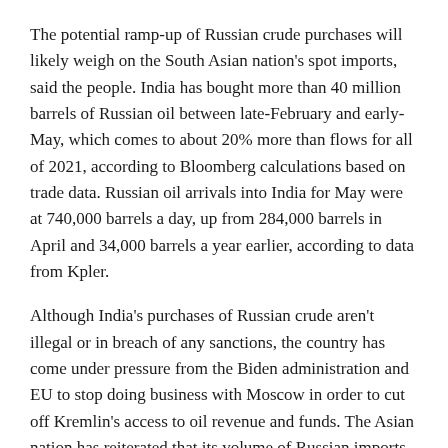The potential ramp-up of Russian crude purchases will likely weigh on the South Asian nation's spot imports, said the people. India has bought more than 40 million barrels of Russian oil between late-February and early-May, which comes to about 20% more than flows for all of 2021, according to Bloomberg calculations based on trade data. Russian oil arrivals into India for May were at 740,000 barrels a day, up from 284,000 barrels in April and 34,000 barrels a year earlier, according to data from Kpler.
Although India's purchases of Russian crude aren't illegal or in breach of any sanctions, the country has come under pressure from the Biden administration and EU to stop doing business with Moscow in order to cut off Kremlin's access to oil revenue and funds. The Asian nation has reiterated that its volume of Russian imports are minuscule as compared to Europe's purchases, and just a tiny fraction of the country's total consumption.
Discounted Russian oil has provided some relief to India —